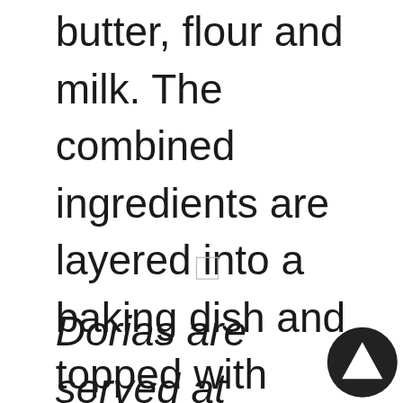butter, flour and milk. The combined ingredients are layered into a baking dish and topped with meltable, creamy cheese, such as parmesan or gruyere. The dish is then baked until the cheese is golden on top.
Dorias are served at Yoshoku restaurants throughout Japan but are also frequently